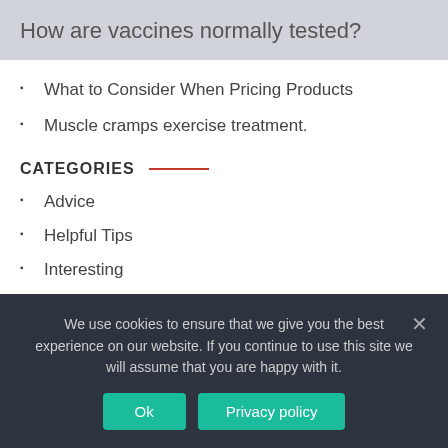How are vaccines normally tested?
What to Consider When Pricing Products
Muscle cramps exercise treatment.
CATEGORIES
Advice
Helpful Tips
Interesting
We use cookies to ensure that we give you the best experience on our website. If you continue to use this site we will assume that you are happy with it.